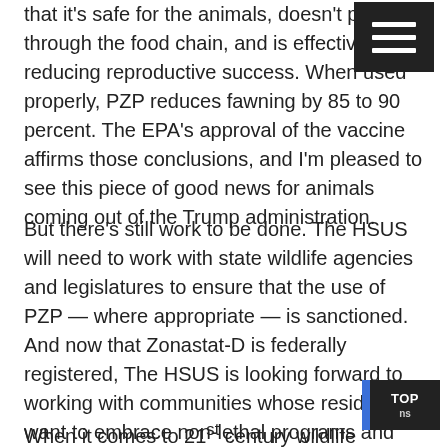that it's safe for the animals, doesn't pass through the food chain, and is effective in reducing reproductive success. When used properly, PZP reduces fawning by 85 to 90 percent. The EPA's approval of the vaccine affirms those conclusions, and I'm pleased to see this piece of good news for animals coming out of the Trump administration.
But there's still work to be done. The HSUS will need to work with state wildlife agencies and legislatures to ensure that the use of PZP — where appropriate — is sanctioned. And now that Zonastat-D is federally registered, The HSUS is looking forward to working with communities whose residents want to embrace non-lethal programs and build comprehensive, humane solutions that will encourage all of us to better understand and celebrate our wild neighbors.
When it comes to 21st century wildlife management, we